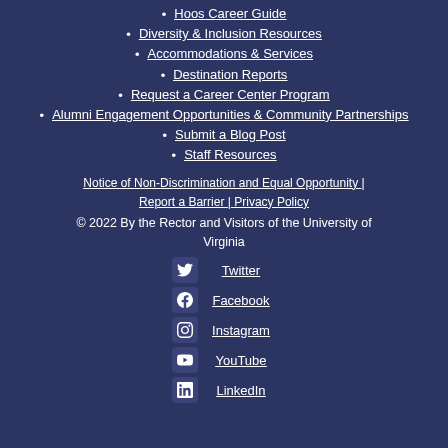Hoos Career Guide
Diversity & Inclusion Resources
Accommodations & Services
Destination Reports
Request a Career Center Program
Alumni Engagement Opportunities & Community Partnerships
Submit a Blog Post
Staff Resources
Notice of Non-Discrimination and Equal Opportunity | Report a Barrier | Privacy Policy
© 2022 By the Rector and Visitors of the University of Virginia
Twitter
Facebook
Instagram
YouTube
LinkedIn